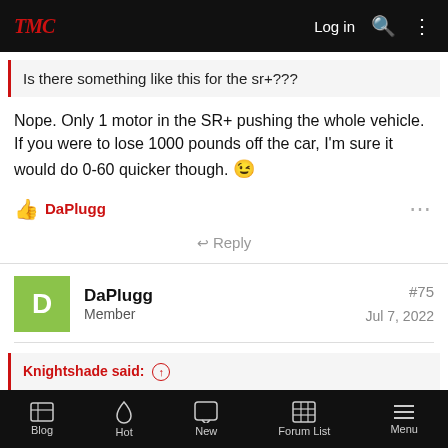TMC | Log in
Is there something like this for the sr+???
Nope. Only 1 motor in the SR+ pushing the whole vehicle. If you were to lose 1000 pounds off the car, I'm sure it would do 0-60 quicker though. 😉
DaPlugg
Reply
DaPlugg
Member
#75
Jul 7, 2022
Knightshade said: ↑
Blog | Hot | New | Forum List | Menu